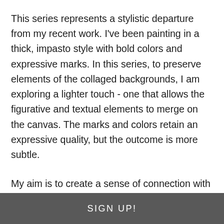This series represents a stylistic departure from my recent work. I've been painting in a thick, impasto style with bold colors and expressive marks. In this series, to preserve elements of the collaged backgrounds, I am exploring a lighter touch - one that allows the figurative and textual elements to merge on the canvas. The marks and colors retain an expressive quality, but the outcome is more subtle.
My aim is to create a sense of connection with the subject, evoking empathy and awareness of our common humanity. By portraying marginalized individuals and highlighting their unique perspectives as well as their group's struggle for voting rights, I hope to inspire viewers to consider the importance of
SIGN UP!